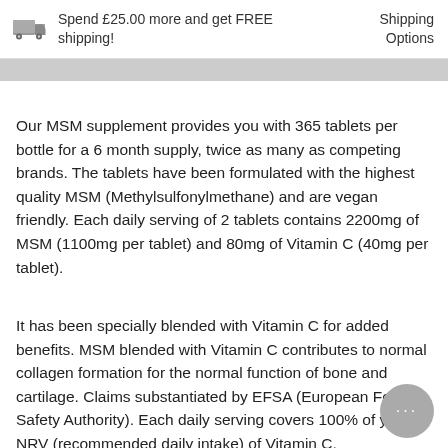Spend £25.00 more and get FREE shipping! | Shipping Options
Our MSM supplement provides you with 365 tablets per bottle for a 6 month supply, twice as many as competing brands. The tablets have been formulated with the highest quality MSM (Methylsulfonylmethane) and are vegan friendly. Each daily serving of 2 tablets contains 2200mg of MSM (1100mg per tablet) and 80mg of Vitamin C (40mg per tablet).
It has been specially blended with Vitamin C for added benefits. MSM blended with Vitamin C contributes to normal collagen formation for the normal function of bone and cartilage. Claims substantiated by EFSA (European Food Safety Authority). Each daily serving covers 100% of your NRV (recommended daily intake) of Vitamin C.